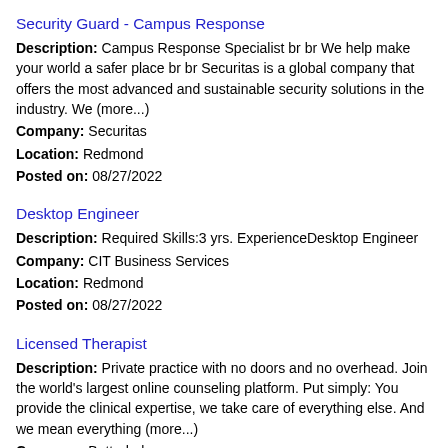Security Guard - Campus Response
Description: Campus Response Specialist br br We help make your world a safer place br br Securitas is a global company that offers the most advanced and sustainable security solutions in the industry. We (more...)
Company: Securitas
Location: Redmond
Posted on: 08/27/2022
Desktop Engineer
Description: Required Skills:3 yrs. ExperienceDesktop Engineer
Company: CIT Business Services
Location: Redmond
Posted on: 08/27/2022
Licensed Therapist
Description: Private practice with no doors and no overhead. Join the world's largest online counseling platform. Put simply: You provide the clinical expertise, we take care of everything else. And we mean everything (more...)
Company: Betterhelp
Location: Redmond
Posted on: 08/27/2022